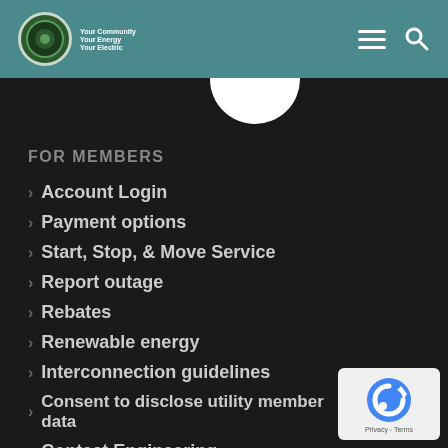Your Community Your Energy Your Electric
FOR MEMBERS
Account Login
Payment options
Start, Stop, & Move Service
Report outage
Rebates
Renewable energy
Interconnection guidelines
Consent to disclose utility member data
Contact Engineering
Contact Member Services
[Figure (logo): reCAPTCHA badge with Privacy and Terms links]